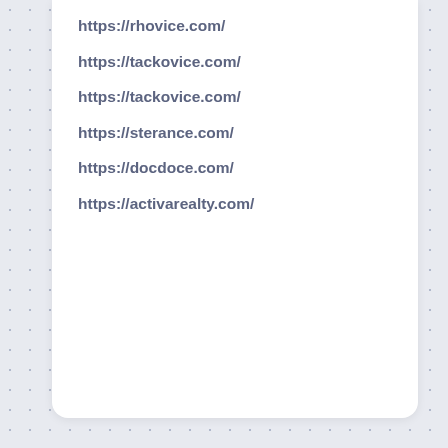https://rhovice.com/
https://tackovice.com/
https://tackovice.com/
https://sterance.com/
https://docdoce.com/
https://activarealty.com/
politezza
google.activity
kehea
Mugshot Removal
pied grec
tv 120 cm
meuble tv 180 cm
vase pampa
https://www.au-comptoir-hydraulique.fr/
clanet anti retour